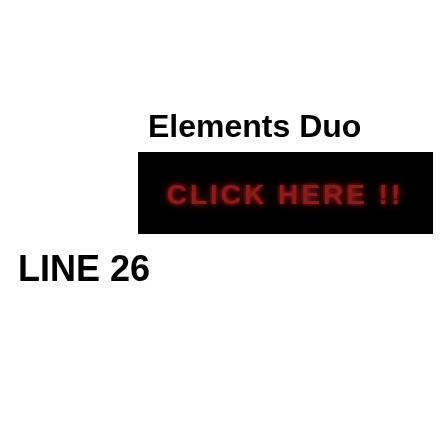Elements Duo
[Figure (other): Black banner with red neon-style text reading 'CLICK HERE !!']
LINE 26